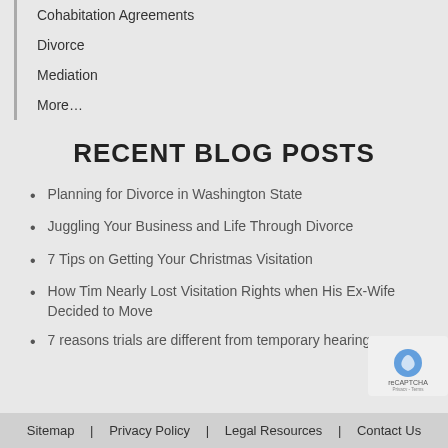Cohabitation Agreements
Divorce
Mediation
More…
RECENT BLOG POSTS
Planning for Divorce in Washington State
Juggling Your Business and Life Through Divorce
7 Tips on Getting Your Christmas Visitation
How Tim Nearly Lost Visitation Rights when His Ex-Wife Decided to Move
7 reasons trials are different from temporary hearings.
Sitemap | Privacy Policy | Legal Resources | Contact Us